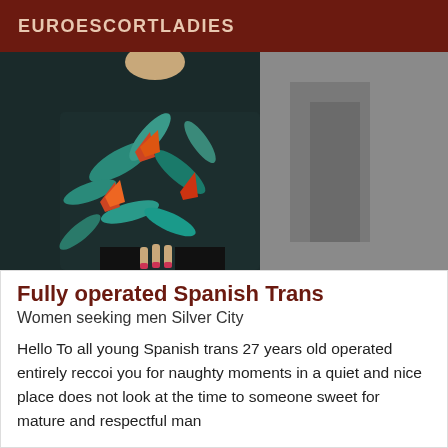EUROESCORTLADIES
[Figure (photo): Close-up photo of a person wearing a dark floral/tropical print top with red and teal flowers and leaves, partial view showing torso and hand with painted nails]
Fully operated Spanish Trans
Women seeking men Silver City
Hello To all young Spanish trans 27 years old operated entirely reccoi you for naughty moments in a quiet and nice place does not look at the time to someone sweet for mature and respectful man
[Figure (photo): Close-up photo of a person's face with dark eyebrows, with an 'Online' badge overlay in dark red at bottom right]